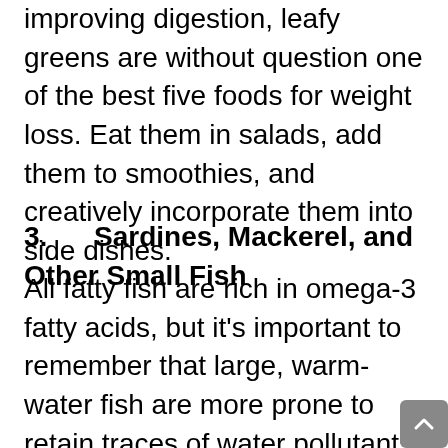improving digestion, leafy greens are without question one of the best five foods for weight loss. Eat them in salads, add them to smoothies, and creatively incorporate them into side dishes.
3.     Sardines, Mackerel, and Other Small Fish
All fatty fish are rich in omega-3 fatty acids, but it's important to remember that large, warm-water fish are more prone to retain traces of water pollutants. Small fish like mackerel and sardines offer your body valuable nutrients you can't easily get from other foods, such as Vitamin D, calcium, and selenium. Many people eat fish for dinner, but you can also add fish to